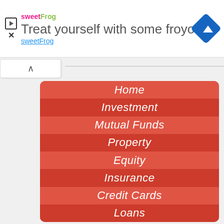[Figure (screenshot): Advertisement banner for sweetFrog frozen yogurt with logo, play/close icons, navigation icon, and text 'Treat yourself with some froyo sweetFrog']
Home
Investment
Mutual Funds
Property
Equity
Insurance
Credit Cards
Loans